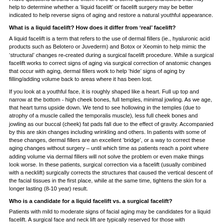I have questions around this often. Here are some questions/answers that may help to determine whether a 'liquid facelift' or facelift surgery may be better indicated to help reverse signs of aging and restore a natural youthful appearance.
What is a liquid facelift? How does it differ from 'real' facelift?
A liquid facelift is a term that refers to the use of dermal fillers (ie., hyaluronic acid products such as Belotero or Juvederm) and Botox or Xeomin to help mimic the 'structural' changes re-created during a surgical facelift procedure. While a surgical facelift works to correct signs of aging via surgical correction of anatomic changes that occur with aging, dermal fillers work to help 'hide' signs of aging by filling/adding volume back to areas where it has been lost.
If you look at a youthful face, it is roughly shaped like a heart. Full up top and narrow at the bottom - high cheek bones, full temples, minimal jowling. As we age, that heart turns upside down. We tend to see hollowing in the temples (due to atrophy of a muscle called the temporalis muscle), less full cheek bones and jowling as our buccal (cheek) fat pads fall due to the effect of gravity. Accompanied by this are skin changes including wrinkling and others. In patients with some of these changes, dermal fillers are an excellent 'bridge', or a way to correct these aging changes without surgery – until which time as patients reach a point where adding volume via dermal fillers will not solve the problem or even make things look worse. In these patients, surgical correction via a facelift (usually combined with a necklift) surgically corrects the structures that caused the vertical descent of the facial tissues in the first place, while at the same time, tightens the skin for a longer lasting (8-10 year) result.
Who is a candidate for a liquid facelift vs. a surgical facelift?
Patients with mild to moderate signs of facial aging may be candidates for a liquid facelift. A surgical face and neck lift are typically reserved for those with